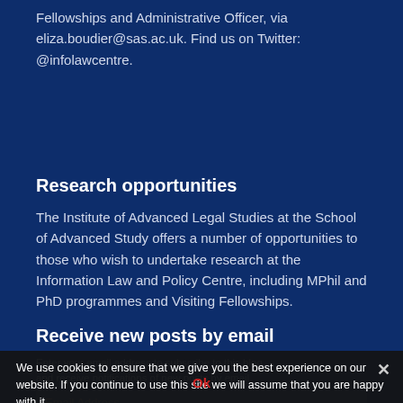Fellowships and Administrative Officer, via eliza.boudier@sas.ac.uk. Find us on Twitter: @infolawcentre.
Research opportunities
The Institute of Advanced Legal Studies at the School of Advanced Study offers a number of opportunities to those who wish to undertake research at the Information Law and Policy Centre, including MPhil and PhD programmes and Visiting Fellowships.
Receive new posts by email
Enter your email address to subscribe to this blog and receive notifications of new posts by email
We use cookies to ensure that we give you the best experience on our website. If you continue to use this site we will assume that you are happy with it.
Ok